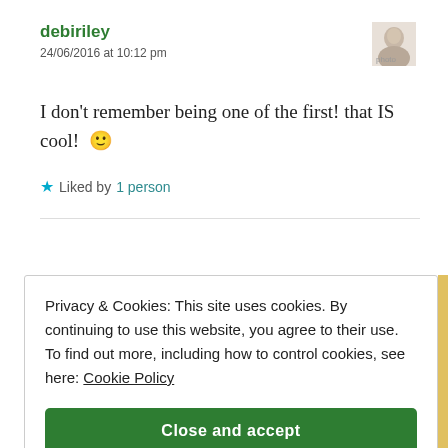debiriley
24/06/2016 at 10:12 pm
I don't remember being one of the first! that IS cool! 🙂
★ Liked by 1 person
Privacy & Cookies: This site uses cookies. By continuing to use this website, you agree to their use.
To find out more, including how to control cookies, see here: Cookie Policy
Close and accept